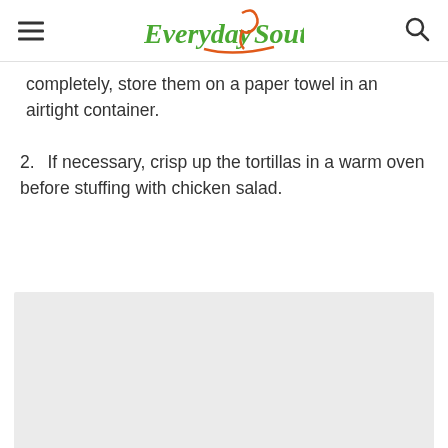Everyday Southwest
completely, store them on a paper towel in an airtight container.
2. If necessary, crisp up the tortillas in a warm oven before stuffing with chicken salad.
[Figure (photo): Image placeholder with loading dots at bottom]